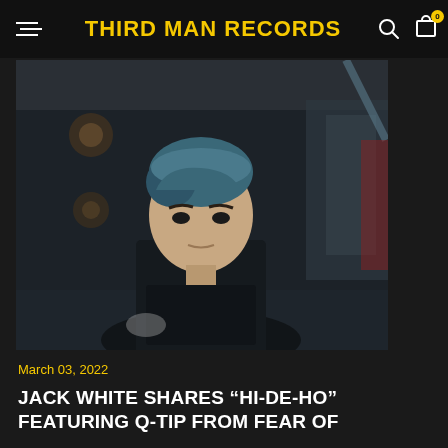THIRD MAN RECORDS
[Figure (photo): Man with blue-tinted hair wearing a black outfit, seated indoors in a dimly lit venue or room, looking directly at the camera. Dark atmospheric background with soft round lights.]
March 03, 2022
JACK WHITE SHARES “HI-DE-HO” FEATURING Q-TIP FROM FEAR OF